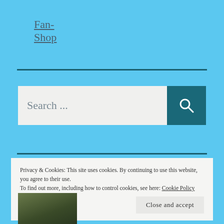Fan-Shop
[Figure (screenshot): Search bar with text 'Search ...' and a teal search button with magnifying glass icon]
Privacy & Cookies: This site uses cookies. By continuing to use this website, you agree to their use.
To find out more, including how to control cookies, see here: Cookie Policy
Close and accept
[Figure (photo): Small thumbnail photo of a person partially visible at the bottom left]